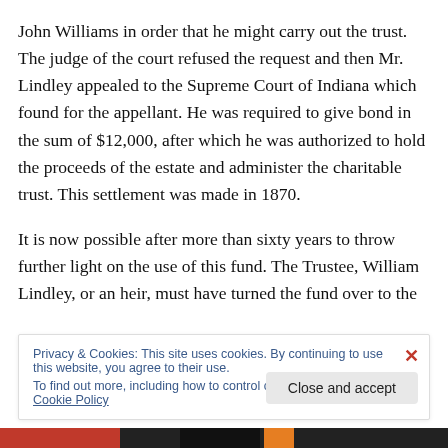John Williams in order that he might carry out the trust. The judge of the court refused the request and then Mr. Lindley appealed to the Supreme Court of Indiana which found for the appellant. He was required to give bond in the sum of $12,000, after which he was authorized to hold the proceeds of the estate and administer the charitable trust. This settlement was made in 1870.
It is now possible after more than sixty years to throw further light on the use of this fund. The Trustee, William Lindley, or an heir, must have turned the fund over to the
Privacy & Cookies: This site uses cookies. By continuing to use this website, you agree to their use.
To find out more, including how to control cookies, see here: Cookie Policy